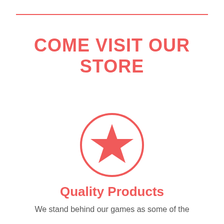COME VISIT OUR STORE
[Figure (illustration): A coral/red circle outline containing a solid coral/red five-pointed star icon in the center]
Quality Products
We stand behind our games as some of the